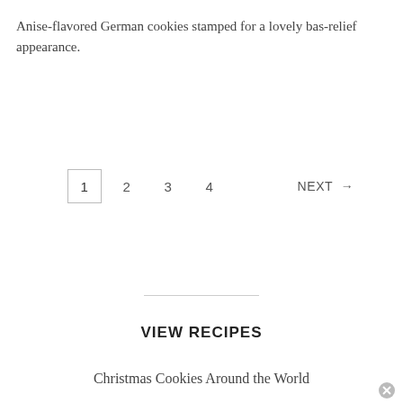Anise-flavored German cookies stamped for a lovely bas-relief appearance.
1  2  3  4  NEXT →
VIEW RECIPES
Christmas Cookies Around the World